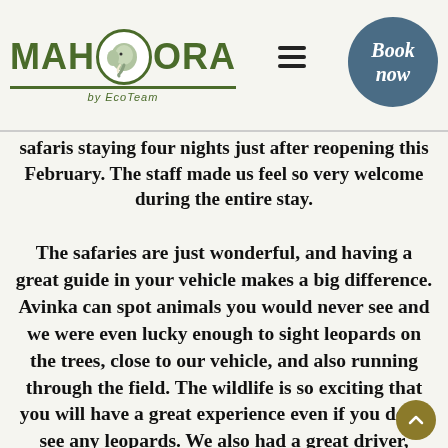MAHOORA by EcoTeam — Book now
safaris staying four nights just after reopening this February. The staff made us feel so very welcome during the entire stay.
The safaries are just wonderful, and having a great guide in your vehicle makes a big difference. Avinka can spot animals you would never see and we were even lucky enough to sight leopards on the trees, close to our vehicle, and also running through the field. The wildlife is so exciting that you will have a great experience even if you don't see any leopards. We also had a great driver, which is essential if you drive through difficult territory. You are being taken care of the entire time, so even for those who do safaris for the first time, you will